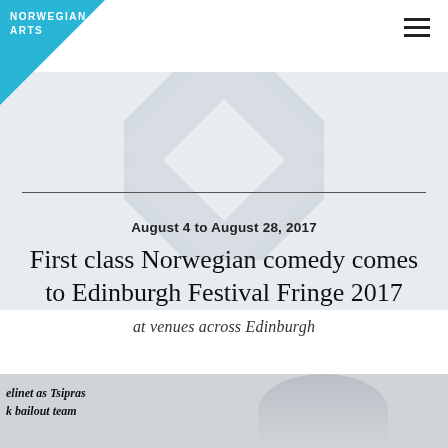NORWEGIAN ARTS
[Figure (illustration): Light blue/grey hero background with decorative overlapping X or diamond shape in grey tones]
August 4 to August 28, 2017
First class Norwegian comedy comes to Edinburgh Festival Fringe 2017
at venues across Edinburgh
[Figure (photo): Bottom strip showing partial newspaper with italic text 'elinet as Tsipras' and 'k bailout team', and a partial face/portrait photo on the right]